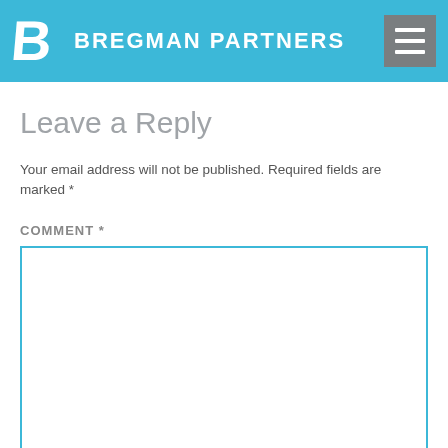BREGMAN PARTNERS
Leave a Reply
Your email address will not be published. Required fields are marked *
COMMENT *